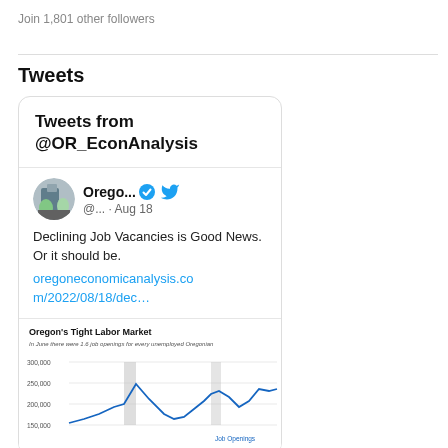Join 1,801 other followers
Tweets
Tweets from @OR_EconAnalysis
Orego... @... · Aug 18
Declining Job Vacancies is Good News. Or it should be.
oregoneconomicanalysis.com/2022/08/18/dec…
[Figure (continuous-plot): Oregon's Tight Labor Market chart - line chart showing job openings and unemployed Oregonians over time. Subtitle: In June there were 1.6 job openings for every unemployed Oregonian. Y-axis shows 150,000 to 300,000. A blue line labeled Job Openings is visible.]